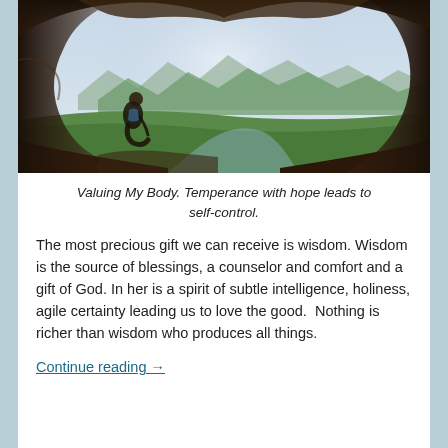[Figure (photo): A person sitting at the edge of a cave opening, looking out at a vast mountain valley landscape with green hills and misty mountains in the background. The cave walls frame the view dramatically.]
Valuing My Body. Temperance with hope leads to self-control.
The most precious gift we can receive is wisdom. Wisdom is the source of blessings, a counselor and comfort and a gift of God. In her is a spirit of subtle intelligence, holiness, agile certainty leading us to love the good.  Nothing is richer than wisdom who produces all things.
Continue reading →